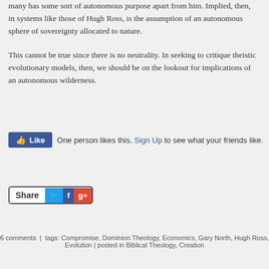many has some sort of autonomous purpose apart from him. Implied, then, in systems like those of Hugh Ross, is the assumption of an autonomous sphere of sovereignty allocated to nature.
This cannot be true since there is no neutrality. In seeking to critique theistic evolutionary models, then, we should be on the lookout for implications of an autonomous wilderness.
[Figure (other): Facebook Like button widget. Shows thumbs-up icon and text: 'One person likes this. Sign Up to see what your friends like.']
[Figure (other): Share button with Twitter, Facebook, and Google+ icons]
6 comments | tags: Compromise, Dominion Theology, Economics, Gary North, Hugh Ross, Evolution | posted in Biblical Theology, Creation